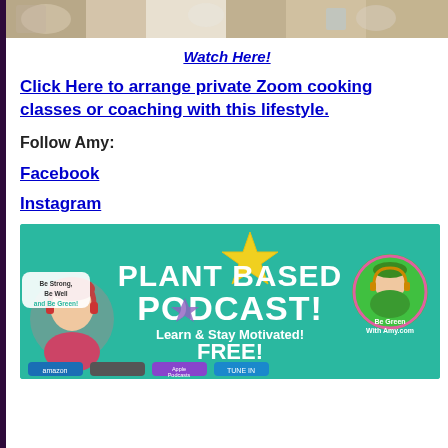[Figure (photo): Top portion of a food/cooking photo showing various items on a countertop]
Watch Here!
Click Here to arrange private Zoom cooking classes or coaching with this lifestyle.
Follow Amy:
Facebook
Instagram
[Figure (infographic): Plant Based Podcast banner - Be Strong, Be Well and Be Green! PLANT BASED PODCAST! Learn & Stay Motivated! FREE! Be Green With Amy.com - with podcast platform logos at bottom]